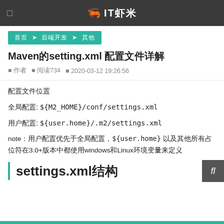🦐 IT虾米
首页  › 后端开发 › 其他
Maven的setting.xml 配置文件详解
● 作者  ● 阅读734  ● 2020-03-12 19:26:56
配置文件位置
全局配置: ${M2_HOME}/conf/settings.xml
用户配置: ${user.home}/.m2/settings.xml
note：用户配置优先于全局配置，${user.home} 以及其他所有占位符在3.0+版本中都使用windows和Linux环境变量来定义
settings.xml结构